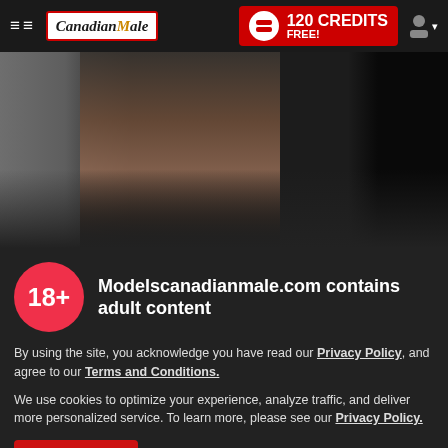≡≡  CanadianMale | 120 CREDITS FREE!
[Figure (photo): Dark moody photo of a young shirtless male model partially hidden behind curtains]
Modelscanadianmale.com contains adult content
By using the site, you acknowledge you have read our Privacy Policy, and agree to our Terms and Conditions.
We use cookies to optimize your experience, analyze traffic, and deliver more personalized service. To learn more, please see our Privacy Policy.
I AGREE